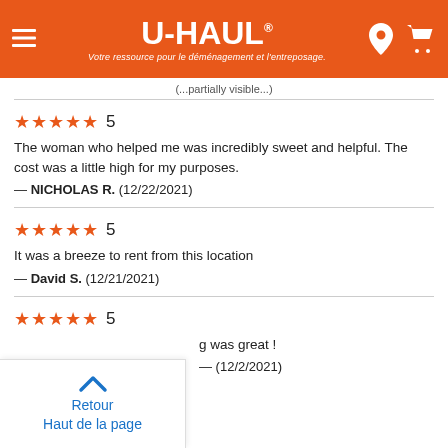[Figure (logo): U-Haul orange header with logo, tagline 'Votre ressource pour le déménagement et l'entreposage.', hamburger menu icon, location pin icon, and cart icon]
★★★★★ 5
The woman who helped me was incredibly sweet and helpful. The cost was a little high for my purposes.
— NICHOLAS R.  (12/22/2021)
★★★★★ 5
It was a breeze to rent from this location
— David S.  (12/21/2021)
★★★★★ 5
...g was great !
...1/2/2021)
Retour
Haut de la page